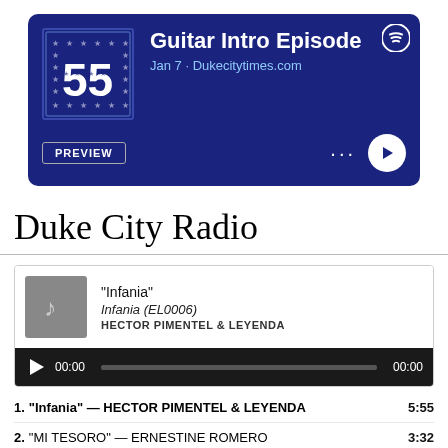[Figure (screenshot): Spotify podcast episode banner for 'Guitar Intro Episode' by Dukecitytimes.com, Jan 7, with preview and play controls on a dark blue background with a '55' logo album art.]
Duke City Radio
[Figure (screenshot): Audio player card showing track 'Infania' from Infania (EL0006) by HECTOR PIMENTEL & LEYENDA, with a dark playback bar showing 00:00 / 00:00.]
1. "Infania" — HECTOR PIMENTEL & LEYENDA   5:55
2. "MI TESORO" — ERNESTINE ROMERO   3:32